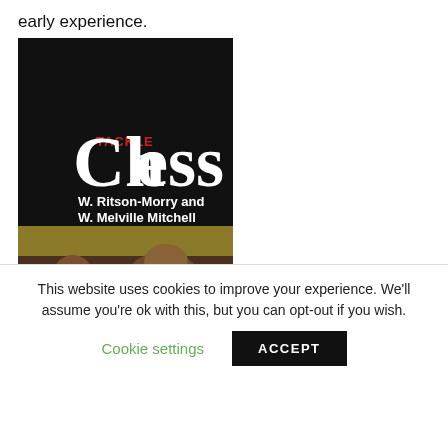early experience.
[Figure (photo): Book cover of 'Tackle Chess' by W. Ritson-Morry and W. Melville Mitchell. Dark background with large white text 'Chess' and red text 'TACKLE'. Two people are shown playing chess in the lower half of the cover.]
This website uses cookies to improve your experience. We'll assume you're ok with this, but you can opt-out if you wish.
Cookie settings
ACCEPT